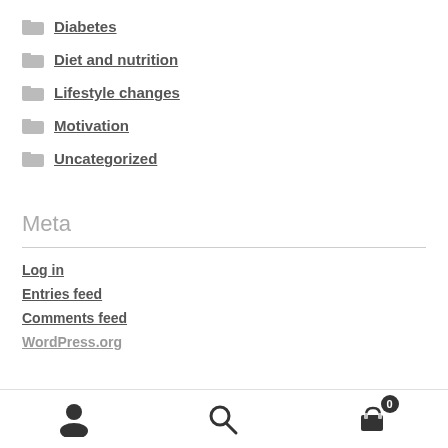Diabetes
Diet and nutrition
Lifestyle changes
Motivation
Uncategorized
Meta
Log in
Entries feed
Comments feed
WordPress.org